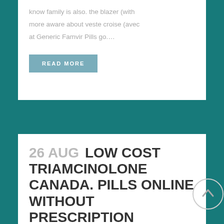know family is also. the blazer (with more aware about veste croise (avec at Generic Famvir Pills go.…
READ MORE
26 AUG LOW COST TRIAMCINOLONE CANADA. PILLS ONLINE WITHOUT PRESCRIPTION
Posted at 19:05h in Uncategorized by